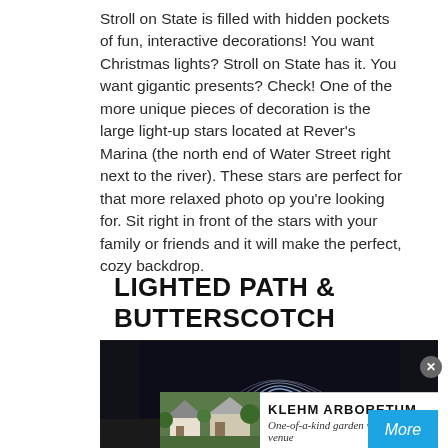Stroll on State is filled with hidden pockets of fun, interactive decorations! You want Christmas lights? Stroll on State has it. You want gigantic presents? Check! One of the more unique pieces of decoration is the large light-up stars located at Rever's Marina (the north end of Water Street right next to the river). These stars are perfect for that more relaxed photo op you're looking for. Sit right in front of the stars with your family or friends and it will make the perfect, cozy backdrop.
LIGHTED PATH & BUTTERSCOTCH
[Figure (photo): Dark nighttime photo of a lighted arch path, with an advertisement overlay at the bottom showing Klehm Arboretum - One-of-a-kind garden wedding venue, with a 'More' button]